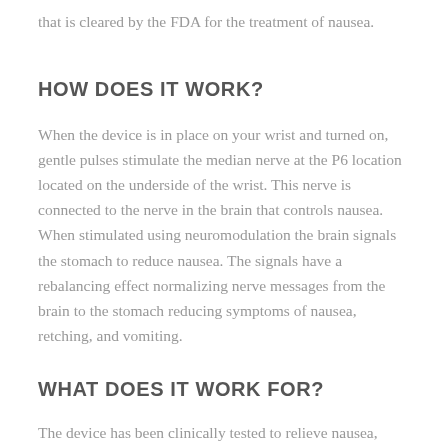that is cleared by the FDA for the treatment of nausea.
HOW DOES IT WORK?
When the device is in place on your wrist and turned on, gentle pulses stimulate the median nerve at the P6 location located on the underside of the wrist. This nerve is connected to the nerve in the brain that controls nausea. When stimulated using neuromodulation the brain signals the stomach to reduce nausea. The signals have a rebalancing effect normalizing nerve messages from the brain to the stomach reducing symptoms of nausea, retching, and vomiting.
WHAT DOES IT WORK FOR?
The device has been clinically tested to relieve nausea,